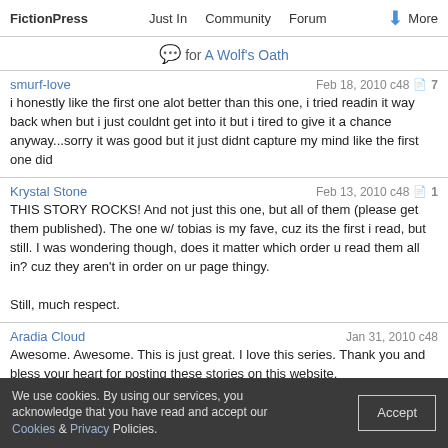FictionPress  Just In  Community  Forum  More
for A Wolf's Oath
smurf-love  Feb 18, 2010 c48  7
i honestly like the first one alot better than this one, i tried readin it way back when but i just couldnt get into it but i tired to give it a chance anyway...sorry it was good but it just didnt capture my mind like the first one did
Krystal Stone  Feb 13, 2010 c48  1
THIS STORY ROCKS! And not just this one, but all of them (please get them published). The one w/ tobias is my fave, cuz its the first i read, but still. I was wondering though, does it matter which order u read them all in? cuz they aren't in order on ur page thingy.

Still, much respect.
Aradia Cloud  Jan 31, 2010 c48
Awesome. Awesome. This is just great. I love this series. Thank you and bless your heart for posting these stories on this website.

$*Aradia Cloud*$
Aradia Cloud  Jan 31, 2010 c44
F u c k i n a s s. I hate her. Anna should go to hell. Please don't let Erica forgive Anna. PLEASE let Anna suffer. I beg of you.
We use cookies. By using our services, you acknowledge that you have read and accept our Cookies & Privacy Policies.